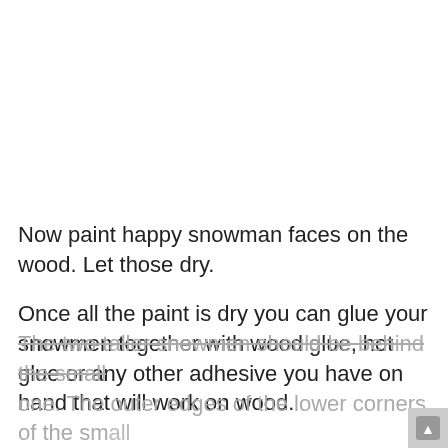Now paint happy snowman faces on the wood. Let those dry.
Once all the paint is dry you can glue your snowmen together with wood glue, hot glue or any other adhesive you have on hand that will work on wood.
The two taller snowmen should be behind the small one. The outer edges of the lower corners of the small